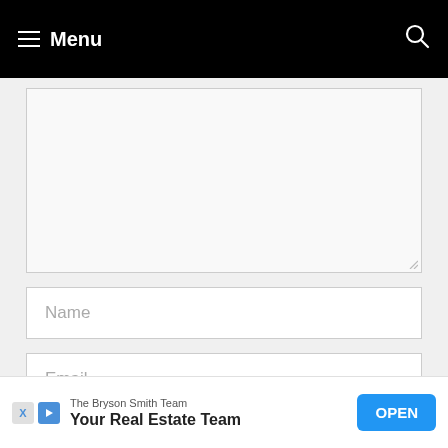Menu
[Figure (screenshot): Textarea input box (empty, with resize handle at bottom right)]
Name
Email
Website
[Figure (infographic): Ad banner: The Bryson Smith Team - Your Real Estate Team - OPEN button]